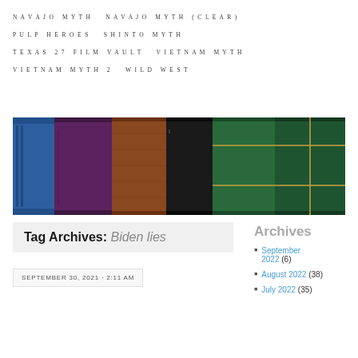NAVAJO MYTH
NAVAJO MYTH (CLEAR)
PULP HEROES
SHINTO MYTH
TEXAS 27 FILM VAULT
VIETNAM MYTH
VIETNAM MYTH 2
WILD WEST
[Figure (photo): A row of old books with colorful spines including blue, purple/maroon, brown/orange, black, and green leather-bound volumes viewed from above.]
Tag Archives: Biden lies
SEPTEMBER 30, 2021 · 2:11 AM
Archives
September 2022 (6)
August 2022 (38)
July 2022 (35)